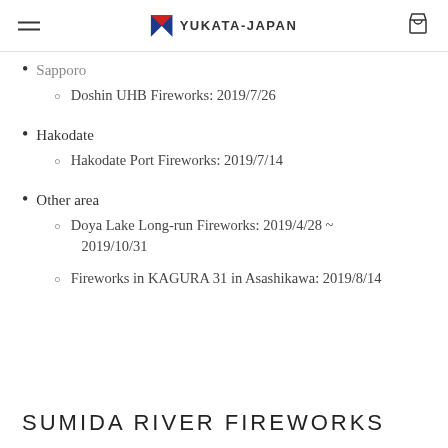YUKATA-JAPAN
Sapporo
Doshin UHB Fireworks: 2019/7/26
Hakodate
Hakodate Port Fireworks: 2019/7/14
Other area
Doya Lake Long-run Fireworks: 2019/4/28 ~ 2019/10/31
Fireworks in KAGURA 31 in Asashikawa: 2019/8/14
SUMIDA RIVER FIREWORKS